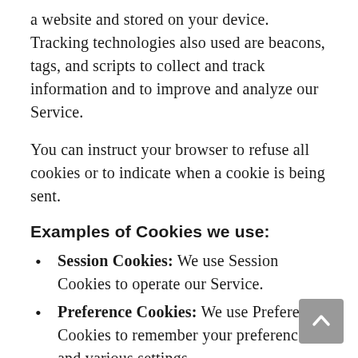a website and stored on your device. Tracking technologies also used are beacons, tags, and scripts to collect and track information and to improve and analyze our Service.
You can instruct your browser to refuse all cookies or to indicate when a cookie is being sent.
Examples of Cookies we use:
Session Cookies: We use Session Cookies to operate our Service.
Preference Cookies: We use Preference Cookies to remember your preferences and various settings.
Security Cookies: We use Security Cookies for security.